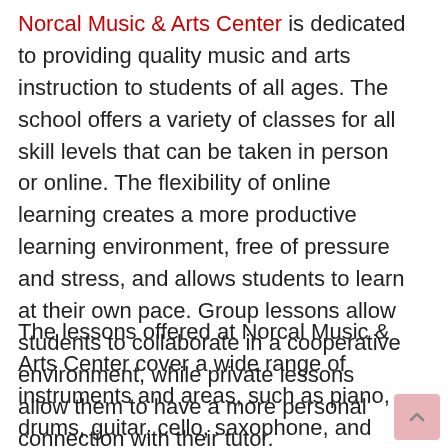Norcal Music & Arts Center is dedicated to providing quality music and arts instruction to students of all ages. The school offers a variety of classes for all skill levels that can be taken in person or online. The flexibility of online learning creates a more productive learning environment, free of pressure and stress, and allows students to learn at their own pace. Group lessons allow students to collaborate in a cooperative environment, while private lessons allow them to have a more personal connection with their tutor.
The lessons offered at Norcal Music & Arts Center cover a wide range of instruments and areas, such as piano, drums, guitar, cello, saxophone, and more. These lessons focus on